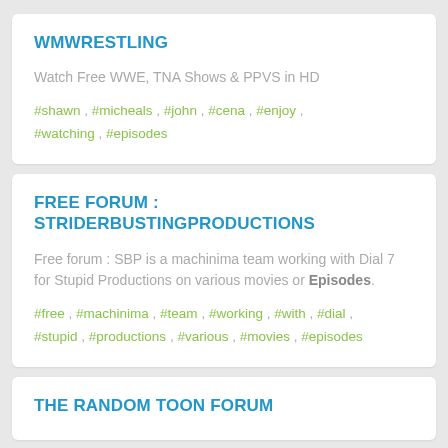WMWRESTLING
Watch Free WWE, TNA Shows & PPVS in HD
#shawn , #micheals , #john , #cena , #enjoy , #watching , #episodes
FREE FORUM : STRIDERBUSTINGPRODUCTIONS
Free forum : SBP is a machinima team working with Dial 7 for Stupid Productions on various movies or Episodes.
#free , #machinima , #team , #working , #with , #dial , #stupid , #productions , #various , #movies , #episodes
THE RANDOM TOON FORUM